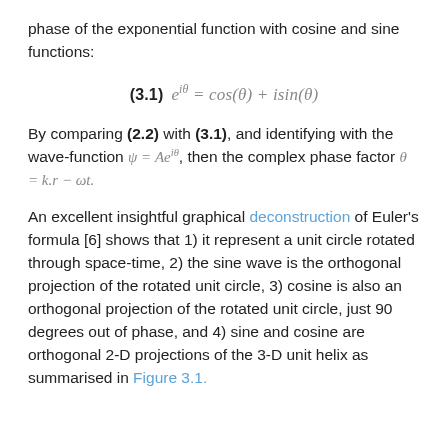phase of the exponential function with cosine and sine functions:
By comparing (2.2) with (3.1), and identifying with the wave-function ψ = Ae^{iθ}, then the complex phase factor θ = k.r − ωt.
An excellent insightful graphical deconstruction of Euler's formula [6] shows that 1) it represent a unit circle rotated through space-time, 2) the sine wave is the orthogonal projection of the rotated unit circle, 3) cosine is also an orthogonal projection of the rotated unit circle, just 90 degrees out of phase, and 4) sine and cosine are orthogonal 2-D projections of the 3-D unit helix as summarised in Figure 3.1.